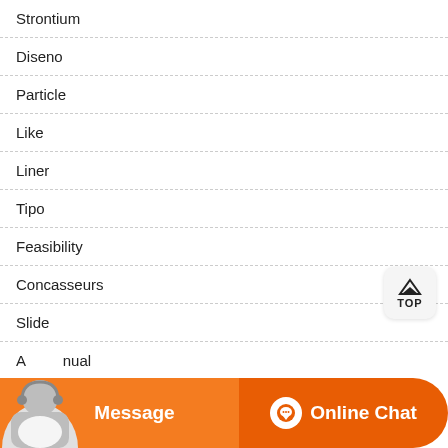Strontium
Diseno
Particle
Like
Liner
Tipo
Feasibility
Concasseurs
Slide
Annual